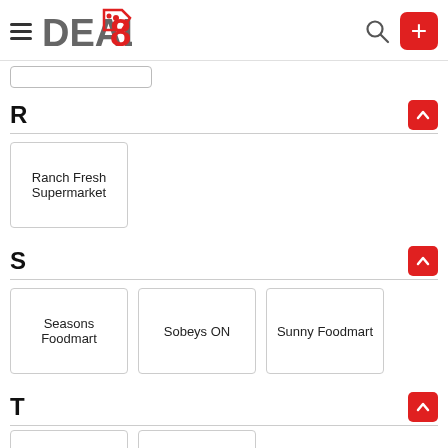Deal8 - navigation header with hamburger menu, logo, search icon, and plus button
R
Ranch Fresh Supermarket
S
Seasons Foodmart
Sobeys ON
Sunny Foodmart
T